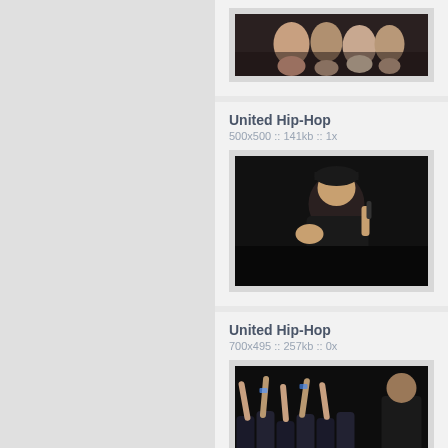[Figure (photo): Partial top card showing a group photo on a red carpet or event, cropped at top of page]
United Hip-Hop
500x500 :: 141kb :: 1x
[Figure (photo): A man in a black cap and black shirt holding a microphone and gesturing with his hand, performing on stage in dark setting]
United Hip-Hop
700x495 :: 257kb :: 0x
[Figure (photo): Crowd of people at a concert with arms raised, a performer visible on the right side in dark venue]